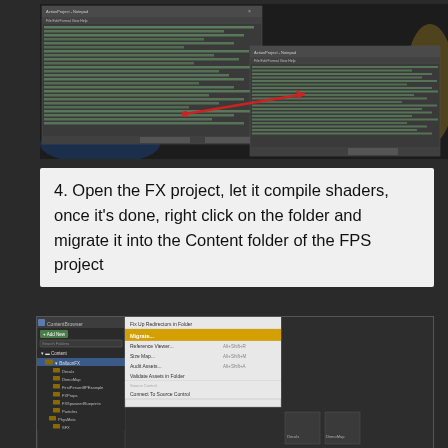[Figure (screenshot): Two overlapping Unreal Engine output/log windows on a dark background with a red arrow pointing from one window to the other]
4. Open the FX project, let it compile shaders, once it's done, right click on the folder and migrate it into the Content folder of the FPS project
[Figure (screenshot): Unreal Engine Content Browser showing a right-click context menu with 'Migrate...' option highlighted in yellow/orange, and a folder tree showing BalloonFX with subfolders Decals, DemoMap, FirstPersonBPExample, FXProps, FXSpawnerBlueprints, Particles, PhysMats, SFX]